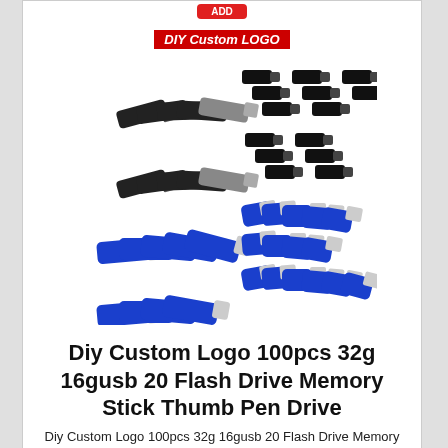[Figure (photo): Top portion of a product card showing a red add-to-cart button, partially visible at the very top of the page.]
[Figure (photo): Product listing card showing multiple USB flash drives in black and blue colors arranged in groups, with a red 'DIY Custom LOGO' badge at the top of the image.]
Diy Custom Logo 100pcs 32g 16gusb 20 Flash Drive Memory Stick Thumb Pen Drive
Diy Custom Logo 100pcs 32g 16gusb 20 Flash Drive Memory Stick Thumb Pen Drive